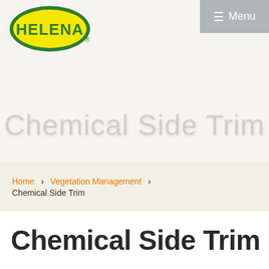[Figure (logo): Helena brand logo — yellow oval with green border and HELENA text in green, with registered trademark symbol]
≡ Menu
[Figure (other): Hero banner background with large light gray text 'Chemical Side Trim' overlaid on a light beige/gray background]
Home > Vegetation Management > Chemical Side Trim
Chemical Side Trim